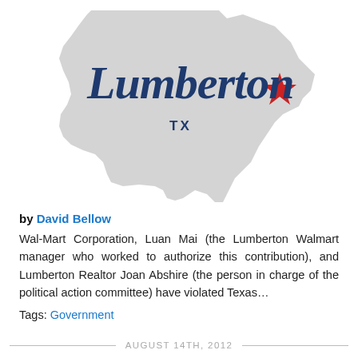[Figure (logo): Lumberton TX logo with Texas state silhouette in gray, cursive dark blue 'Lumberton' text, 'TX' in dark blue serif, and a red star marking Lumberton's location on the map]
by David Bellow
Wal-Mart Corporation, Luan Mai (the Lumberton Walmart manager who worked to authorize this contribution), and Lumberton Realtor Joan Abshire (the person in charge of the political action committee) have violated Texas...
Tags: Government
AUGUST 14TH, 2012